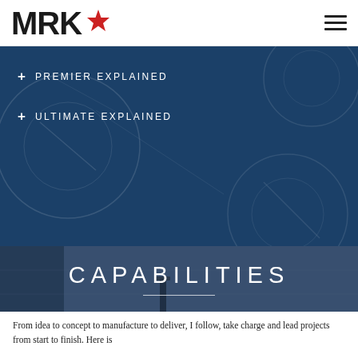[Figure (logo): MRK logo with star in black]
[Figure (other): Hamburger menu icon (three horizontal lines)]
+ PREMIER EXPLAINED
+ ULTIMATE EXPLAINED
CAPABILITIES
From idea to concept to manufacture to deliver, I follow, take charge and lead projects from start to finish. Here is